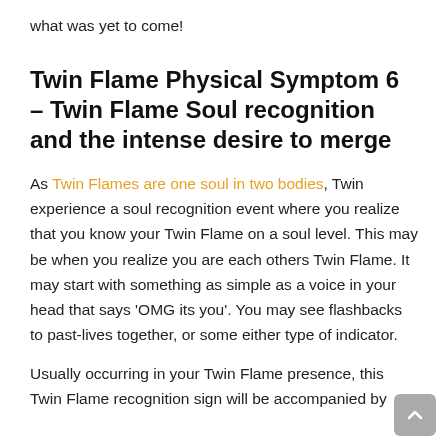what was yet to come!
Twin Flame Physical Symptom 6 – Twin Flame Soul recognition and the intense desire to merge
As Twin Flames are one soul in two bodies, Twin experience a soul recognition event where you realize that you know your Twin Flame on a soul level. This may be when you realize you are each others Twin Flame. It may start with something as simple as a voice in your head that says 'OMG its you'. You may see flashbacks to past-lives together, or some either type of indicator.
Usually occurring in your Twin Flame presence, this Twin Flame recognition sign will be accompanied by